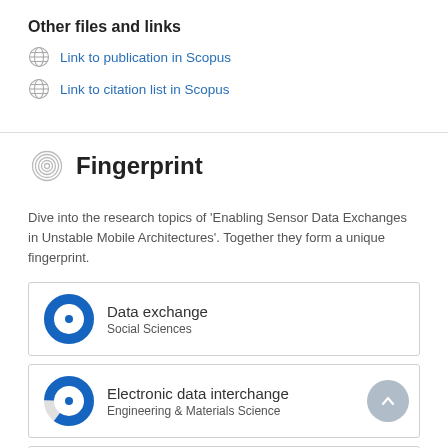Other files and links
Link to publication in Scopus
Link to citation list in Scopus
Fingerprint
Dive into the research topics of 'Enabling Sensor Data Exchanges in Unstable Mobile Architectures'. Together they form a unique fingerprint.
Data exchange
Social Sciences
Electronic data interchange
Engineering & Materials Science